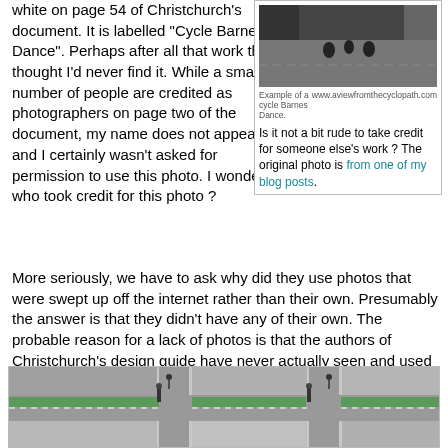white on page 54 of Christchurch's document. It is labelled "Cycle Barnes Dance". Perhaps after all that work they thought I'd never find it. While a small number of people are credited as photographers on page two of the document, my name does not appear and I certainly wasn't asked for permission to use this photo. I wonder who took credit for this photo ?
[Figure (photo): Black and white photo of cyclists on a road, with a small caption reading 'Example of a cycle Barnes Dance.' and URL 'www.aviewfromthecyclopath.com']
Is it not a bit rude to take credit for someone else's work ? The original photo is from one of my blog posts.
More seriously, we have to ask why did they use photos that were swept up off the internet rather than their own. Presumably the answer is that they didn't have any of their own. The probable reason for a lack of photos is that the authors of Christchurch's design guide have never actually seen and used this type of infrastructure. Their take on what a "cycle barnes dance" should look like is as follows:
[Figure (illustration): Rendered 3D illustration of a road intersection showing cycle barnes dance infrastructure with green cycle lanes and traffic signals.]